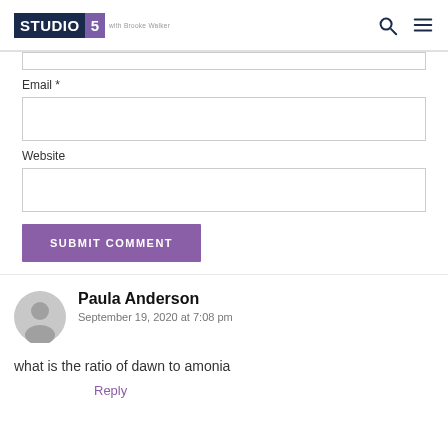STUDIO 5 with Brooke Walker
Email *
Website
SUBMIT COMMENT
Paula Anderson
September 19, 2020 at 7:08 pm
what is the ratio of dawn to amonia
Reply